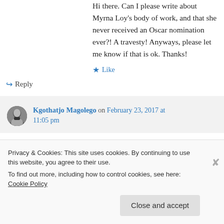Hi there. Can I please write about Myrna Loy's body of work, and that she never received an Oscar nomination ever?! A travesty! Anyways, please let me know if that is ok. Thanks!
★ Like
↪ Reply
Kgothatjo Magolego on February 23, 2017 at 11:05 pm
Privacy & Cookies: This site uses cookies. By continuing to use this website, you agree to their use.
To find out more, including how to control cookies, see here: Cookie Policy
Close and accept